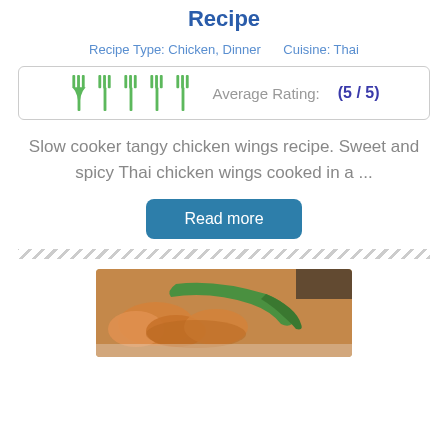Recipe
Recipe Type: Chicken, Dinner   Cuisine: Thai
Average Rating: (5 / 5)
Slow cooker tangy chicken wings recipe. Sweet and spicy Thai chicken wings cooked in a ...
Read more
[Figure (photo): Photo of Thai chicken wings dish with green chili pepper on top, served on a white plate.]